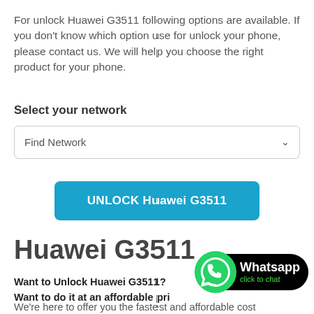For unlock Huawei G3511 following options are available. If you don't know which option use for unlock your phone, please contact us. We will help you choose the right product for your phone.
Select your network
[Figure (other): Dropdown selector labeled 'Find Network' with a chevron arrow on the right]
[Figure (other): Blue rounded button labeled 'UNLOCK Huawei G3511']
Huawei G3511
Want to Unlock Huawei G3511?
Want to do it at an affordable pri...
We're here to offer you the fastest and affordable cost...
[Figure (logo): WhatsApp click-to-chat badge with green WhatsApp icon and white 'Whatsapp' text on black background with 'click to chat' in green]